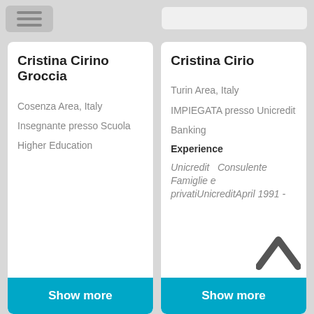[Figure (screenshot): Hamburger menu icon button, gray rounded rectangle with three horizontal lines]
Cristina Cirino Groccia
Cosenza Area, Italy
Insegnante presso Scuola
Higher Education
Show more
Cristina Cirio
Turin Area, Italy
IMPIEGATA presso Unicredit
Banking
Experience
Unicredit   Consulente Famiglie e privatiUnicreditApril 1991 -
Show more